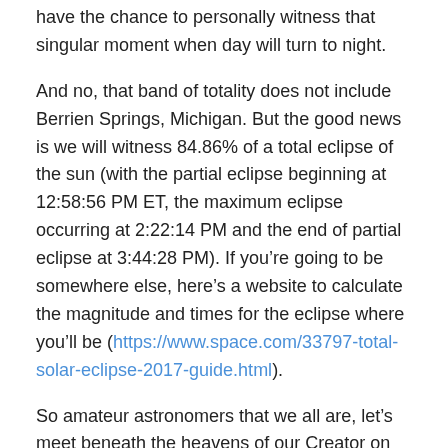have the chance to personally witness that singular moment when day will turn to night.
And no, that band of totality does not include Berrien Springs, Michigan. But the good news is we will witness 84.86% of a total eclipse of the sun (with the partial eclipse beginning at 12:58:56 PM ET, the maximum eclipse occurring at 2:22:14 PM and the end of partial eclipse at 3:44:28 PM). If you're going to be somewhere else, here's a website to calculate the magnitude and times for the eclipse where you'll be (https://www.space.com/33797-total-solar-eclipse-2017-guide.html).
So amateur astronomers that we all are, let's meet beneath the heavens of our Creator on Monday afternoon and be awed with the clockwork